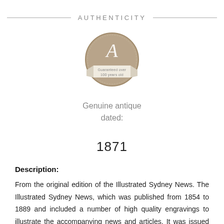AUTHENTICITY
[Figure (illustration): Circular badge/seal in tan/brown color with a large decorative letter A at the top and a ribbon banner across the middle reading 'Guaranteed over 100 years old']
Genuine antique dated:
1871
Description:
From the original edition of the Illustrated Sydney News. The Illustrated Sydney News, which was published from 1854 to 1889 and included a number of high quality engravings to illustrate the accompanying news and articles. It was issued on a monthly basis but at times one or more issues of the paper